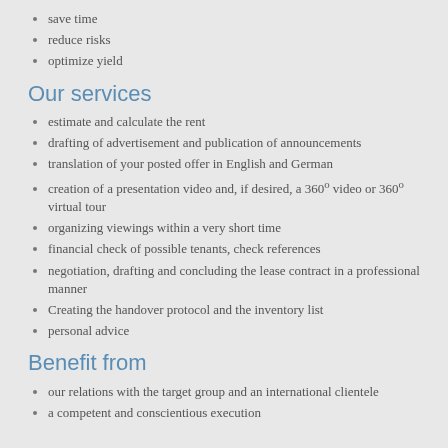save time
reduce risks
optimize yield
Our services
estimate and calculate the rent
drafting of advertisement and publication of announcements
translation of your posted offer in English and German
creation of a presentation video and, if desired, a 360° video or 360° virtual tour
organizing viewings within a very short time
financial check of possible tenants, check references
negotiation, drafting and concluding the lease contract in a professional manner
Creating the handover protocol and the inventory list
personal advice
Benefit from
our relations with the target group and an international clientele
a competent and conscientious execution